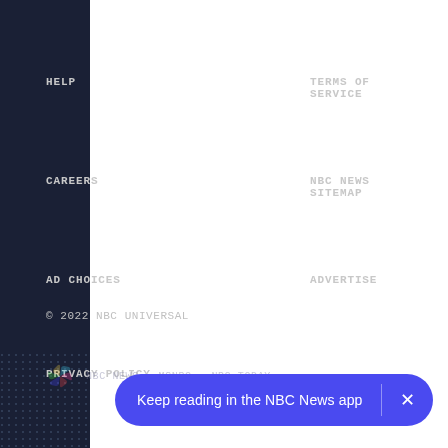HELP
TERMS OF SERVICE
CAREERS
NBC NEWS SITEMAP
AD CHOICES
ADVERTISE
PRIVACY POLICY
© 2022 NBC UNIVERSAL
[Figure (logo): NBC peacock logo with nav links: NBC NEWS  MSNBC  NBC TODAY]
Keep reading in the NBC News app